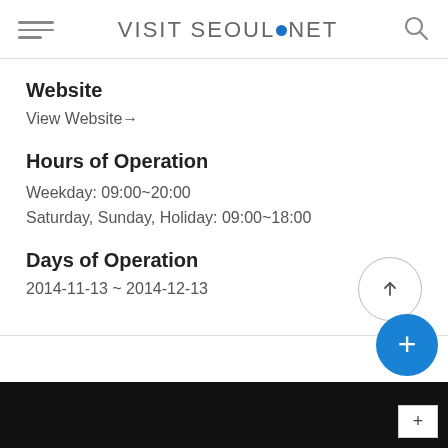VISIT SEOUL.NET
Website
View Website→
Hours of Operation
Weekday: 09:00~20:00
Saturday, Sunday, Holiday: 09:00~18:00
Days of Operation
2014-11-13 ~ 2014-12-13
[Figure (screenshot): Map view at bottom of page (black map area) with zoom controls]